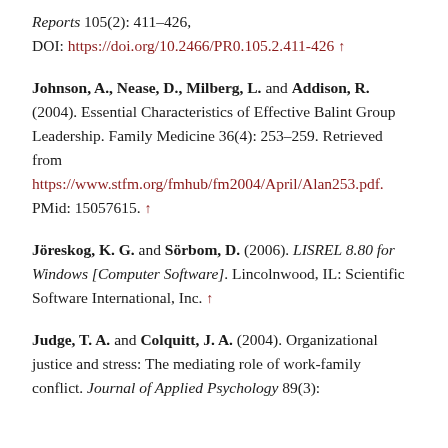Reports 105(2): 411–426, DOI: https://doi.org/10.2466/PR0.105.2.411-426 ↑
Johnson, A., Nease, D., Milberg, L. and Addison, R. (2004). Essential Characteristics of Effective Balint Group Leadership. Family Medicine 36(4): 253–259. Retrieved from https://www.stfm.org/fmhub/fm2004/April/Alan253.pdf. PMid: 15057615. ↑
Jöreskog, K. G. and Sörbom, D. (2006). LISREL 8.80 for Windows [Computer Software]. Lincolnwood, IL: Scientific Software International, Inc. ↑
Judge, T. A. and Colquitt, J. A. (2004). Organizational justice and stress: The mediating role of work-family conflict. Journal of Applied Psychology 89(3):